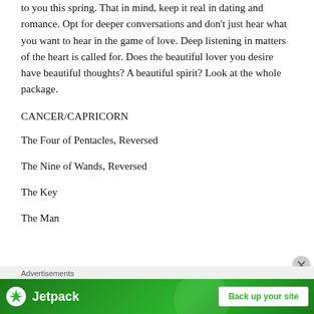to you this spring.  That in mind, keep it real in dating and romance.  Opt for deeper conversations and don't just hear what you want to hear in the game of love.  Deep listening in matters of the heart is called for.  Does the beautiful lover you desire have beautiful thoughts?  A beautiful spirit?  Look at the whole package.
CANCER/CAPRICORN
The Four of Pentacles, Reversed
The Nine of Wands, Reversed
The Key
The Man
[Figure (screenshot): Jetpack advertisement banner with green background showing Jetpack logo and 'Back up your site' button, with an 'Advertisements' label above it and a close (X) button.]